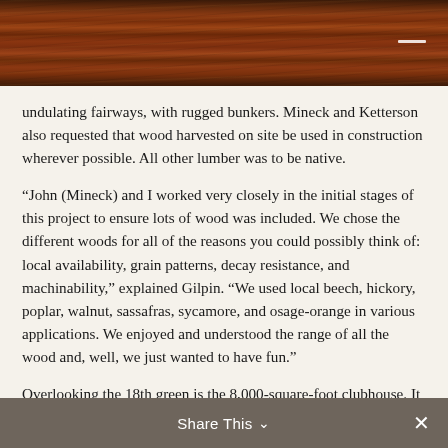[Figure (photo): Wood grain texture header image, dark reddish-brown wood with a small white dash/line in the upper right corner]
undulating fairways, with rugged bunkers. Mineck and Ketterson also requested that wood harvested on site be used in construction wherever possible. All other lumber was to be native.
“John (Mineck) and I worked very closely in the initial stages of this project to ensure lots of wood was included. We chose the different woods for all of the reasons you could possibly think of: local availability, grain patterns, decay resistance, and machinability,” explained Gilpin. “We used local beech, hickory, poplar, walnut, sassafras, sycamore, and osage-orange in various applications. We enjoyed and understood the range of all the wood and, well, we just wanted to have fun.”
Overlooking the 18th green is the 8,000-square-foot clubhouse. It is divided into a series of spaces that include a grill room, bar, billiard room, library, and the
Share This